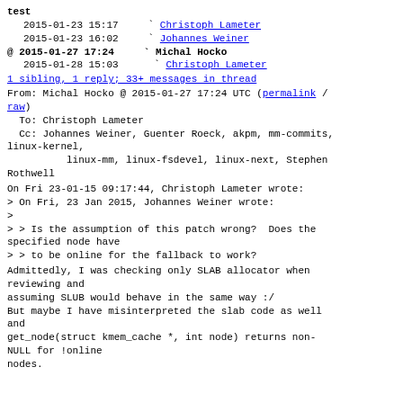test
2015-01-23 15:17   ` Christoph Lameter
2015-01-23 16:02   ` Johannes Weiner
@ 2015-01-27 17:24  ` Michal Hocko
2015-01-28 15:03    ` Christoph Lameter
1 sibling, 1 reply; 33+ messages in thread
From: Michal Hocko @ 2015-01-27 17:24 UTC (permalink / raw)
  To: Christoph Lameter
  Cc: Johannes Weiner, Guenter Roeck, akpm, mm-commits, linux-kernel,
          linux-mm, linux-fsdevel, linux-next, Stephen Rothwell
On Fri 23-01-15 09:17:44, Christoph Lameter wrote:
> On Fri, 23 Jan 2015, Johannes Weiner wrote:
>
> > Is the assumption of this patch wrong?  Does the specified node have
> > to be online for the fallback to work?
Admittedly, I was checking only SLAB allocator when reviewing and
assuming SLUB would behave in the same way :/
But maybe I have misinterpreted the slab code as well and
get_node(struct kmem_cache *, int node) returns non-NULL for !online
nodes.